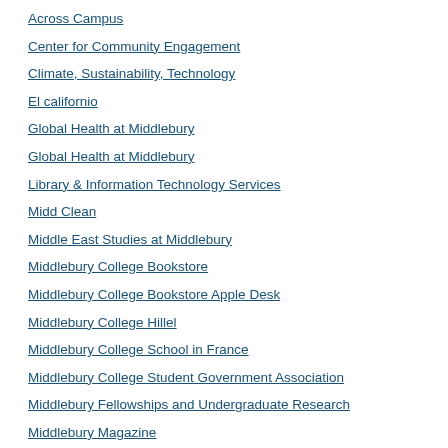Across Campus
Center for Community Engagement
Climate, Sustainability, Technology
El californio
Global Health at Middlebury
Global Health at Middlebury
Library & Information Technology Services
Midd Clean
Middle East Studies at Middlebury
Middlebury College Bookstore
Middlebury College Bookstore Apple Desk
Middlebury College Hillel
Middlebury College School in France
Middlebury College Student Government Association
Middlebury Fellowships and Undergraduate Research
Middlebury Magazine
Middlebury Performing Arts Series
Middlebury Staff Council
Middlebury Web Makeover